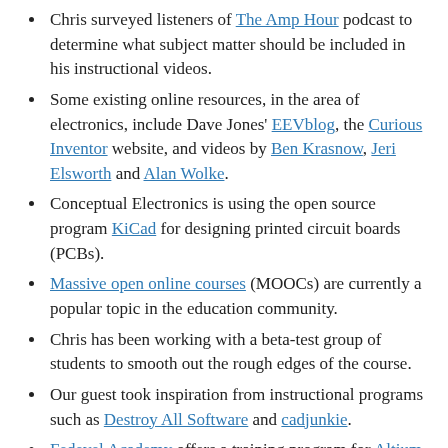Chris surveyed listeners of The Amp Hour podcast to determine what subject matter should be included in his instructional videos.
Some existing online resources, in the area of electronics, include Dave Jones' EEVblog, the Curious Inventor website, and videos by Ben Krasnow, Jeri Elsworth and Alan Wolke.
Conceptual Electronics is using the open source program KiCad for designing printed circuit boards (PCBs).
Massive open online courses (MOOCs) are currently a popular topic in the education community.
Chris has been working with a beta-test group of students to smooth out the rough edges of the course.
Our guest took inspiration from instructional programs such as Destroy All Software and cadjunkie.
Fedevel Academy offers a training program for Altium Designer.
An introductory video program titled Getting to Blinky is available on the Contextual Electronics YouTube channel.
Chris is quite pleased with his experiences using Vimeo for